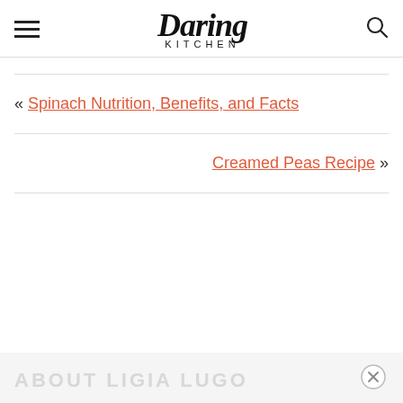Daring Kitchen
« Spinach Nutrition, Benefits, and Facts
Creamed Peas Recipe »
ABOUT LIGIA LUGO